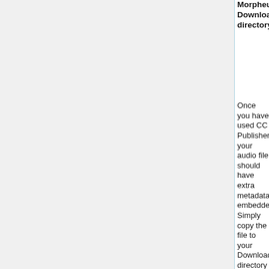Morpheus Downloads directory
Once you have used CC Publisher, your audio file should have extra metadata embedded. Simply copy the file to your Downloads directory within Morpheus to begin